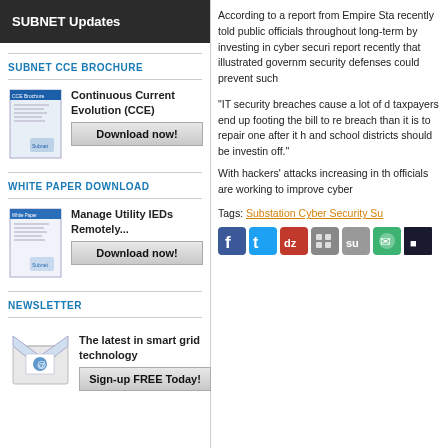SUBNET Updates
SUBNET CCE BROCHURE
Continuous Current Evolution (CCE)
Download now!
WHITE PAPER DOWNLOAD
Manage Utility IEDs Remotely...
Download now!
NEWSLETTER
The latest in smart grid technology
Sign-up FREE Today!
According to a report from Empire Sta recently told public officials throughout long-term by investing in cyber securi report recently that illustrated governm security defenses could prevent such
"IT security breaches cause a lot of d taxpayers end up footing the bill to re breach than it is to repair one after it h and school districts should be investin off."
With hackers' attacks increasing in th officials are working to improve cyber
Tags: Substation Cyber Security Su